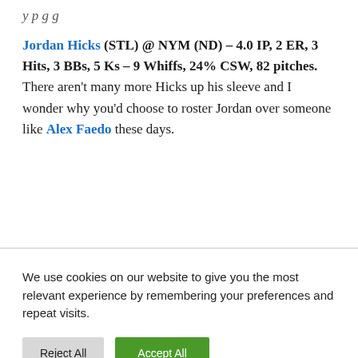y p g g
Jordan Hicks (STL) @ NYM (ND) – 4.0 IP, 2 ER, 3 Hits, 3 BBs, 5 Ks – 9 Whiffs, 24% CSW, 82 pitches. There aren't many more Hicks up his sleeve and I wonder why you'd choose to roster Jordan over someone like Alex Faedo these days.
We use cookies on our website to give you the most relevant experience by remembering your preferences and repeat visits.